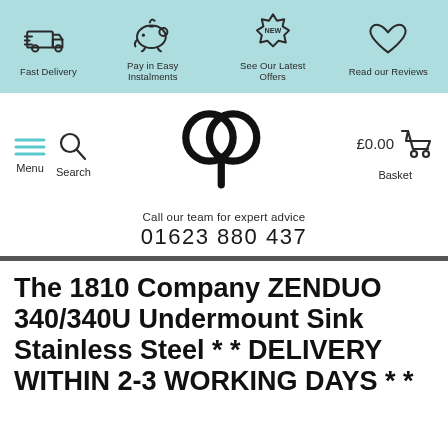Fast Delivery | Pay in Easy Instalments | See Our Latest Offers | Read our Reviews
[Figure (logo): QP brand logo - two interlocking circles with a stem]
Call our team for expert advice
01623 880 437
The 1810 Company ZENDUO 340/340U Undermount Sink Stainless Steel * * DELIVERY WITHIN 2-3 WORKING DAYS * *